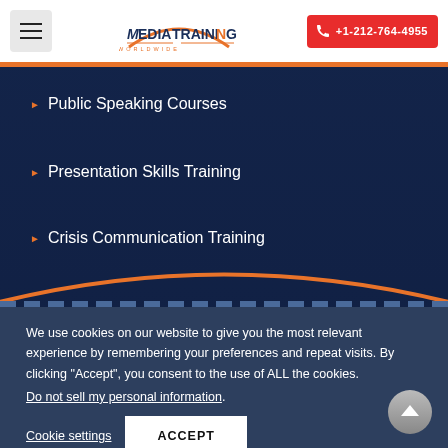[Figure (logo): Media Training Worldwide logo with orange arc above text]
+1-212-764-4955
Public Speaking Courses
Presentation Skills Training
Crisis Communication Training
We use cookies on our website to give you the most relevant experience by remembering your preferences and repeat visits. By clicking “Accept”, you consent to the use of ALL the cookies.
Do not sell my personal information.
Cookie settings
ACCEPT